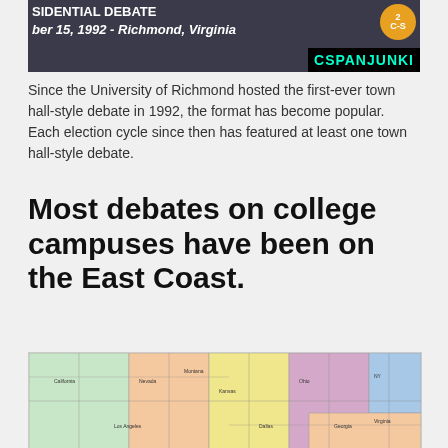[Figure (screenshot): A screenshot of a C-SPAN broadcast showing a presidential debate banner. Text reads 'SIDENTIAL DEBATE' and 'ber 15, 1992 - Richmond, Virginia' with a C-SPAN logo badge and 'CSPANJUNKI' text in cyan on black bar at bottom right.]
Since the University of Richmond hosted the first-ever town hall-style debate in 1992, the format has become popular. Each election cycle since then has featured at least one town hall-style debate.
Most debates on college campuses have been on the East Coast.
[Figure (map): A colorful map of the United States showing states in various colors (green, peach, yellow, blue) with city and state labels.]